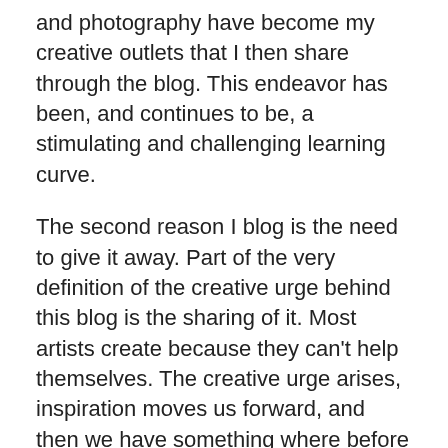and photography have become my creative outlets that I then share through the blog. This endeavor has been, and continues to be, a stimulating and challenging learning curve.
The second reason I blog is the need to give it away. Part of the very definition of the creative urge behind this blog is the sharing of it. Most artists create because they can't help themselves. The creative urge arises, inspiration moves us forward, and then we have something where before there was nothing. Most artists work alone. That which has been created is a secret until the decision to share it is reached. Sometimes it is a delicious secret held close to the heart, a dance of creator and created that is meant for a time to be held in that cauldron of love. Sometimes it is a scratching secret, wanting out, wanting to be in the world but held back by fear. Either way there is